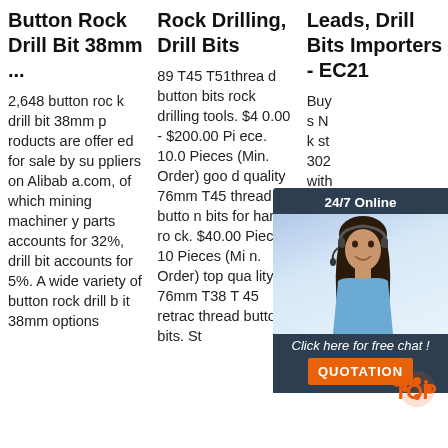Button Rock Drill Bit 38mm ...
2,648 button rock drill bit 38mm products are offered for sale by suppliers on Alibaba.com, of which mining machinery parts accounts for 32%, drill bit accounts for 5%. A wide variety of button rock drill bit 38mm options
Rock Drilling, Drill Bits
89 T45 T51thread button bits rock drilling tools. $40.00 - $200.00 Piece. 10.0 Pieces (Min. Order) good quality 76mm T45 thread button bits for hard rock. $40.00 Piece. 10 Pieces (Min. Order) top quality 76mm T38 T45 retrac thread button bits. St
Leads, Drill Bits Importers - EC21
Buy Leads N k st 302 with 2 A se s best price quotation cif Riyadh dry port for 120 piece of DHT drill bits Numa120 shan
[Figure (illustration): Chat widget overlay showing a woman wearing a headset, with dark navy background, '24/7 Online' text, 'Click here for free chat!' text, and an orange QUOTATION button. Also a small TOP logo in orange/red at bottom right.]